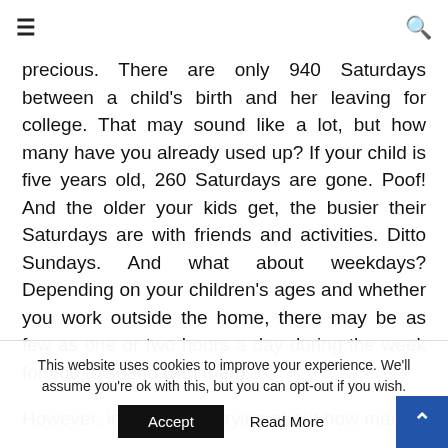≡  🔍
precious. There are only 940 Saturdays between a child's birth and her leaving for college. That may sound like a lot, but how many have you already used up? If your child is five years old, 260 Saturdays are gone. Poof! And the older your kids get, the busier their Saturdays are with friends and activities. Ditto Sundays. And what about weekdays? Depending on your children's ages and whether you work outside the home, there may be as few as one or two hours a day during the week for you to spend with them.

However, instead of worrying about how many
This website uses cookies to improve your experience. We'll assume you're ok with this, but you can opt-out if you wish.